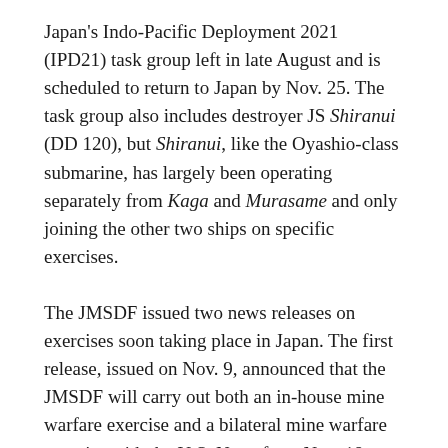Japan's Indo-Pacific Deployment 2021 (IPD21) task group left in late August and is scheduled to return to Japan by Nov. 25. The task group also includes destroyer JS Shiranui (DD 120), but Shiranui, like the Oyashio-class submarine, has largely been operating separately from Kaga and Murasame and only joining the other two ships on specific exercises.
The JMSDF issued two news releases on exercises soon taking place in Japan. The first release, issued on Nov. 9, announced that the JMSDF will carry out both an in-house mine warfare exercise and a bilateral mine warfare exercise with the U.S. Navy from Nov. 18 through 28 in the Hyuga Nada Sea off Kyushu.